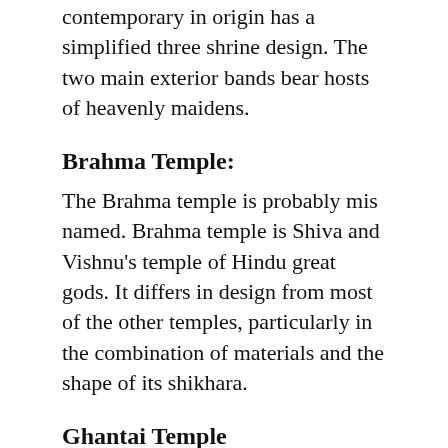contemporary in origin has a simplified three shrine design. The two main exterior bands bear hosts of heavenly maidens.
Brahma Temple:
The Brahma temple is probably mis named. Brahma temple is Shiva and Vishnu's temple of Hindu great gods. It differs in design from most of the other temples, particularly in the combination of materials and the shape of its shikhara.
Ghantai Temple
South Khajuraho has three temples, its little gem called the ghantai temple. This temple is its pillars, festooned with carvings of